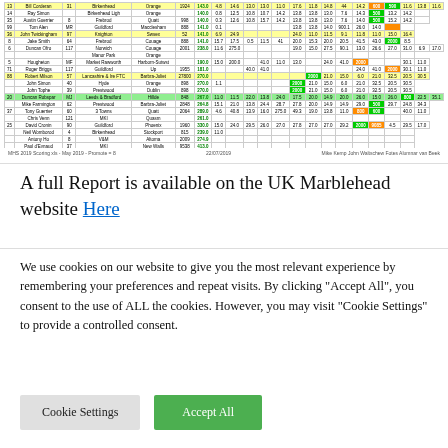[Figure (table-as-image): Cropped spreadsheet showing MHS 2019 scoring data with player names, clubs, counties, and numerical scores. Rows highlighted in yellow, green, and orange. Multiple columns of numeric data.]
MHS 2019 Scoring xls - May 2019 - Promote = 8    22/07/2019    Mike Kemp John Waltschew Fotes Alumnar van Beek
A full Report is available on the UK Marblehead website Here
We use cookies on our website to give you the most relevant experience by remembering your preferences and repeat visits. By clicking "Accept All", you consent to the use of ALL the cookies. However, you may visit "Cookie Settings" to provide a controlled consent.